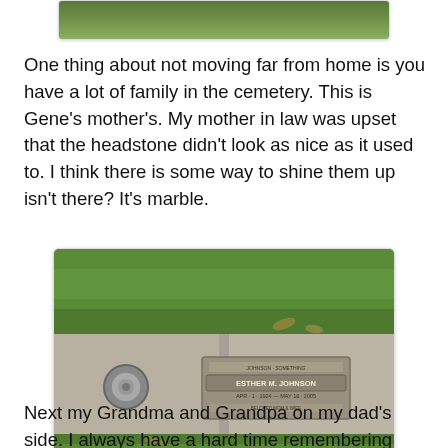[Figure (photo): Partial top of a photo showing green grass, cropped at top of page]
One thing about not moving far from home is you have a lot of family in the cemetery. This is Gene's mother's. My mother in law was upset that the headstone didn't look as nice as it used to. I think there is some way to shine them up isn't there? It's marble.
[Figure (photo): Photo of a flat grave marker/headstone set in green grass at a cemetery. The marker reads 'ESTHER M. JOHNSON' with dates. A circular metal vase holder is visible to the left of the marker.]
Next my Grandma and Grandpa on my dad's side. I always have a hard time remembering exactly where they are but